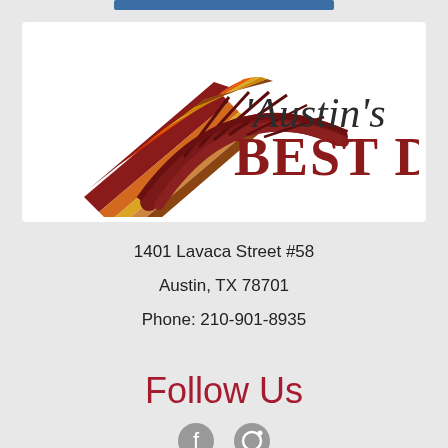[Figure (logo): Austin's Best DJs logo featuring the Pennybacker Bridge arch in dark red/brown with multicolored stripes, and text 'Austin's BEST DJS' in serif and display fonts]
1401 Lavaca Street #58
Austin, TX 78701
Phone: 210-901-8935
Follow Us